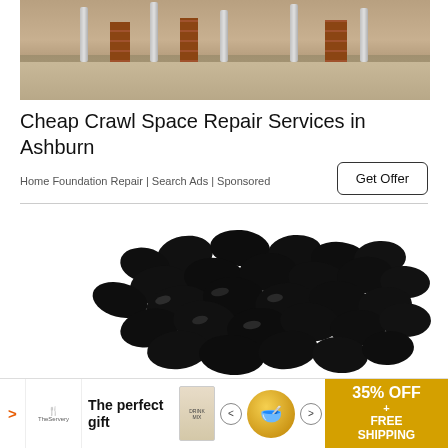[Figure (photo): Crawl space interior with metal support columns and brick pillars on a gravel/dirt floor]
Cheap Crawl Space Repair Services in Ashburn
Home Foundation Repair | Search Ads | Sponsored
Get Offer
[Figure (photo): Pile of black beans on a white background]
[Figure (infographic): Advertisement banner: The perfect gift - 35% OFF + FREE SHIPPING]